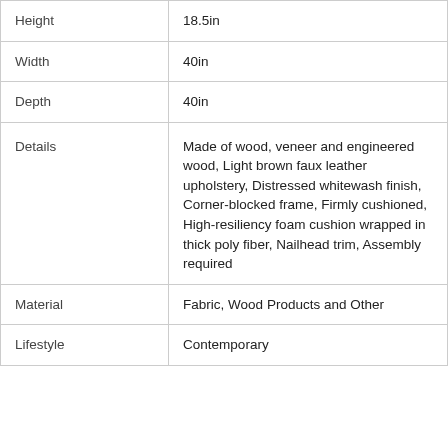| Height | 18.5in |
| Width | 40in |
| Depth | 40in |
| Details | Made of wood, veneer and engineered wood, Light brown faux leather upholstery, Distressed whitewash finish, Corner-blocked frame, Firmly cushioned, High-resiliency foam cushion wrapped in thick poly fiber, Nailhead trim, Assembly required |
| Material | Fabric, Wood Products and Other |
| Lifestyle | Contemporary |